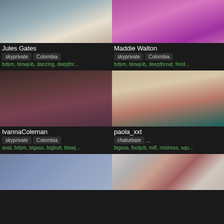[Figure (photo): Profile photo of Jules Gates - woman in white off-shoulder top outdoors]
Jules Gates
skyprivate  Colombia
bdsm, blowjob, dancing, deepthr...
[Figure (photo): Profile photo of Maddie Walton - woman in pink swimsuit in purple-lit room]
Maddie Walton
skyprivate  Colombia
bdsm, blowjob, deepthroat, fend...
[Figure (photo): Profile photo of IvannaColeman - woman in red lingerie on dark chair]
IvannaColeman
skyprivate  Colombia
anal, bdsm, bigass, bigbutt, blowj...
[Figure (photo): Profile photo of paola_xxt - close-up legs in red outfit]
paola_xxt
chaturbate  ...
bigass, footjob, milf, mistress, squ...
[Figure (photo): Partial profile photo - animated/illustrated figure]
[Figure (photo): Partial profile photo - woman in red on bed with patterned wallpaper]